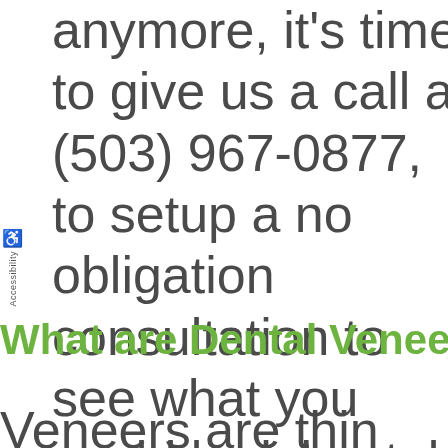anymore, it's time to give us a call at (503) 967-0877, to setup a no obligation consultation to see what you could look like with dental veneers.
What are Dental Veneers?
Veneers are thin pieces o...